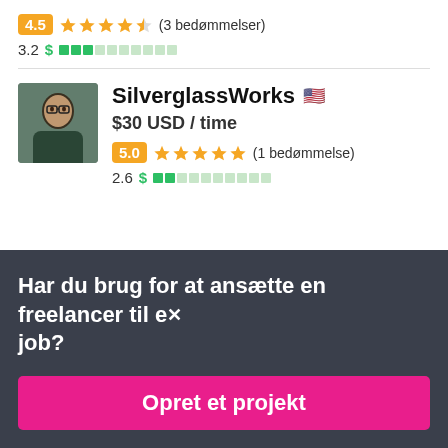4.5 ★★★★½ (3 bedømmelser)
3.2 $ ███░░░░░░░
SilverglassWorks 🇺🇸
$30 USD / time
5.0 ★★★★★ (1 bedømmelse)
2.6 $ ██░░░░░░░░
Har du brug for at ansætte en freelancer til et job?
Opret et projekt